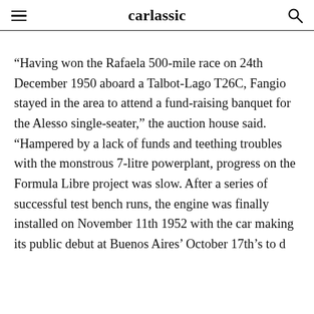carlassic
“Having won the Rafaela 500-mile race on 24th December 1950 aboard a Talbot-Lago T26C, Fangio stayed in the area to attend a fund-raising banquet for the Alesso single-seater,” the auction house said. “Hampered by a lack of funds and teething troubles with the monstrous 7-litre powerplant, progress on the Formula Libre project was slow. After a series of successful test bench runs, the engine was finally installed on November 11th 1952 with the car making its public debut at Buenos Aires’ October 17th’s to d…